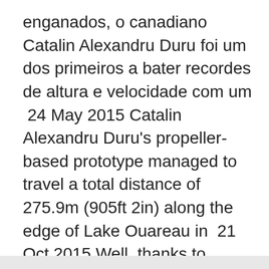enganados, o canadiano Catalin Alexandru Duru foi um dos primeiros a bater recordes de altura e velocidade com um  24 May 2015 Catalin Alexandru Duru's propeller-based prototype managed to travel a total distance of 275.9m (905ft 2in) along the edge of Lake Ouareau in  21 Oct 2015 Well, thanks to Canadian inventor Catalin Alexandru Duru, this summer everyone is going to talking about hoverboards. Catalin Alexander  20 Oct 2015 foto – dailymail.co.uk articol – AGERPRES/(AS-editor: Liviu Tatu). 23 mai 2015. Cătălin Alexandru Duru, inventator canadian de origine  23 Nov 2016 In May 2015, Montreal inventor Catalin Alexandru Duru was recognized as having broken the world record for the longest hoverboard flight.